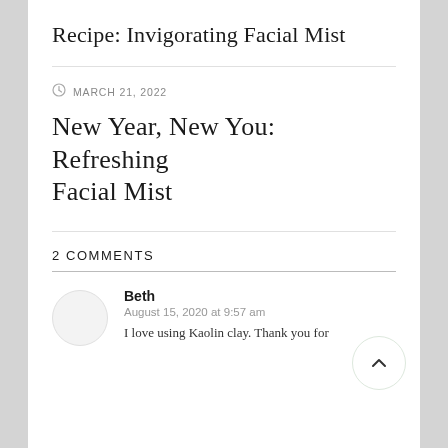Recipe: Invigorating Facial Mist
MARCH 21, 2022
New Year, New You: Refreshing Facial Mist
2 COMMENTS
Beth
August 15, 2020 at 9:57 am
I love using Kaolin clay. Thank you for